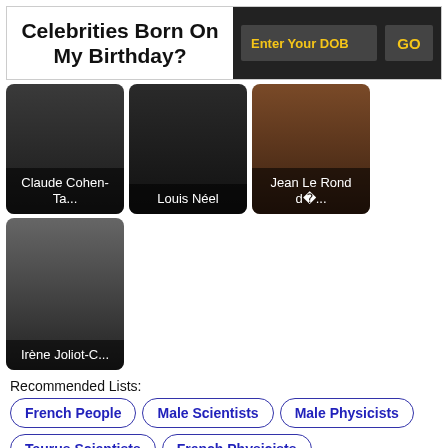Celebrities Born On My Birthday?
[Figure (screenshot): Enter Your DOB input field and GO button on dark background]
[Figure (photo): Photo card of Claude Cohen-Ta...]
[Figure (photo): Photo card of Louis Néel]
[Figure (photo): Photo card of Jean Le Rond d�...]
[Figure (photo): Photo card of Irène Joliot-C...]
Recommended Lists:
French People
Male Scientists
Male Physicists
Taurus Scientists
French Physicists
Childhood & Early Life